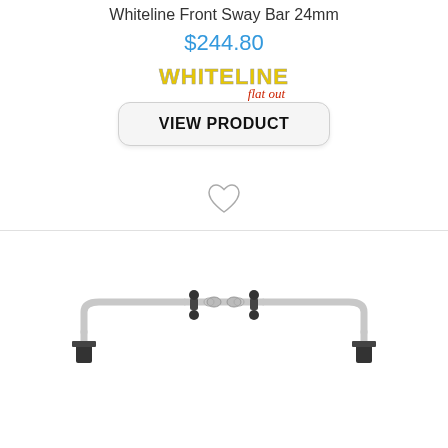Whiteline Front Sway Bar 24mm
$244.80
[Figure (logo): Whiteline Flat Out brand logo with yellow WHITELINE text and red italic 'flat out' script]
VIEW PRODUCT
[Figure (illustration): Heart/wishlist icon outline]
[Figure (photo): Whiteline front sway bar 24mm product image showing a grey metal anti-roll bar with end links]